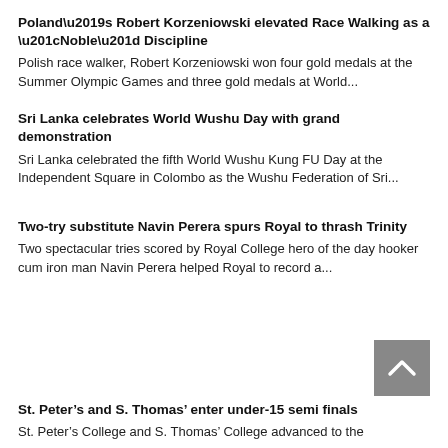Poland’s Robert Korzeniowski elevated Race Walking as a “Noble” Discipline
Polish race walker, Robert Korzeniowski won four gold medals at the Summer Olympic Games and three gold medals at World...
Sri Lanka celebrates World Wushu Day with grand demonstration
Sri Lanka celebrated the fifth World Wushu Kung FU Day at the Independent Square in Colombo as the Wushu Federation of Sri...
Two-try substitute Navin Perera spurs Royal to thrash Trinity
Two spectacular tries scored by Royal College hero of the day hooker cum iron man Navin Perera helped Royal to record a...
St. Peter’s and S. Thomas’ enter under-15 semi finals
St. Peter’s College and S. Thomas’ College advanced to the